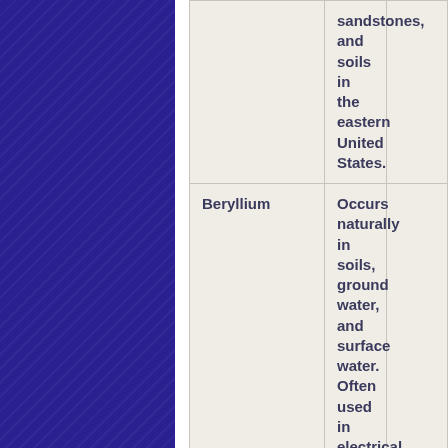| Contaminant | Description/Sources | Health Effects |
| --- | --- | --- |
|  | sandstones, and soils in the eastern United States. |  |
| Beryllium | Occurs naturally in soils, ground water, and surface water. Often used in electrical industry equipment and components, nuclear power and space industry. Enters the environment from mining operations, processing plants, and improper waste disposal. Found in low |  |